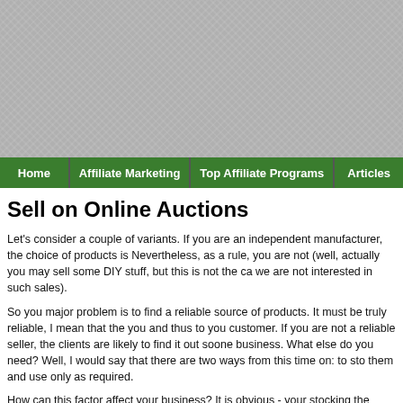[Figure (other): Gray textured banner/advertisement area at top of webpage]
Home | Affiliate Marketing | Top Affiliate Programs | Articles
Sell on Online Auctions
Let's consider a couple of variants. If you are an independent manufacturer, the choice of products is Nevertheless, as a rule, you are not (well, actually you may sell some DIY stuff, but this is not the ca we are not interested in such sales).
So you major problem is to find a reliable source of products. It must be truly reliable, I mean that the you and thus to you customer. If you are not a reliable seller, the clients are likely to find it out soone business. What else do you need? Well, I would say that there are two ways from this time on: to sto them and use only as required.
How can this factor affect your business? It is obvious - your stocking the product will inevitably affe use). Of course, you can stock them at your own place, but as your business grows bigger, just imag you have to make the price of the items you sell higher. It might not affect the goods that are sold by about custom items? Each item will cost considerably higher, and you are likely to become uncompe
Another way is to find the reliable sources of goods that stock products themselves and you take wh the working scheme is something like that: you find a source - place the products on your eBay store receive the money - you order the products from your source - the source either delivers the product difference between what you get from your client and what you pay to the source is your profit! Belo successfully: 1) Provide a photograph/picture of the product. A picture is worth a thousand words.
I know this term is over stated, but people still like to see things before they buy them. So make sure quality digital photographs. 2) Before you list a particular product, spend time researching othe